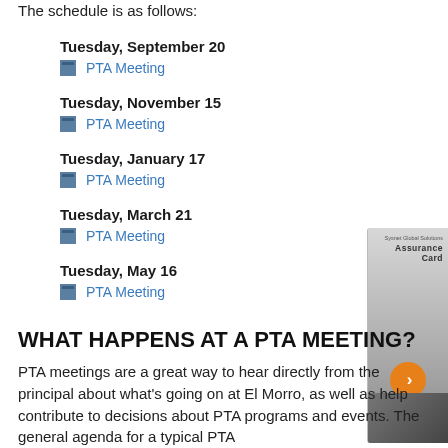The schedule is as follows:
Tuesday, September 20
PTA Meeting
Tuesday, November 15
PTA Meeting
Tuesday, January 17
PTA Meeting
Tuesday, March 21
PTA Meeting
Tuesday, May 16
PTA Meeting
WHAT HAPPENS AT A PTA MEETING?
PTA meetings are a great way to hear directly from the principal about what’s going on at El Morro, as well as help contribute to decisions about PTA programs and events. The general agenda for a typical PTA